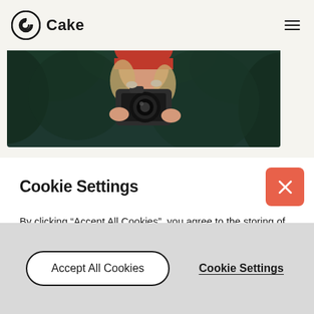[Figure (logo): Cake logo with circular C icon and text 'Cake']
[Figure (photo): A woman wearing a red beanie hat holding a camera up to her face, photographed against a green foliage background]
Cookie Settings
By clicking “Accept All Cookies”, you agree to the storing of cookies on your device to enhance site navigation, analyze site usage and assist in our marketing efforts. More info
Accept All Cookies
Cookie Settings